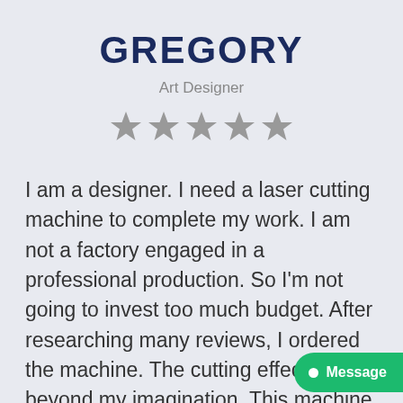GREGORY
Art Designer
[Figure (other): Five grey star rating icons]
I am a designer. I need a laser cutting machine to complete my work. I am not a factory engaged in a professional production. So I'm not going to invest too much budget. After researching many reviews, I ordered the machine. The cutting effect is beyond my imagination. This machine is completely enough to finish my